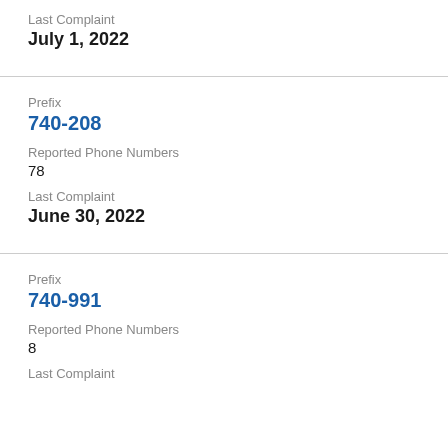Last Complaint
July 1, 2022
Prefix
740-208
Reported Phone Numbers
78
Last Complaint
June 30, 2022
Prefix
740-991
Reported Phone Numbers
8
Last Complaint